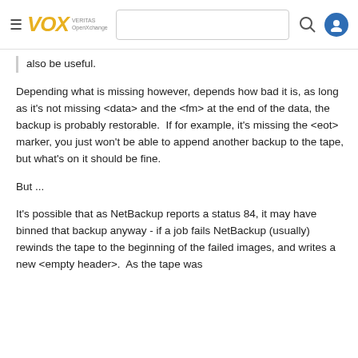VOX — VERITAS OpenXchange (navigation bar with search)
also be useful.
Depending what is missing however, depends how bad it is, as long as it's not missing <data> and the <fm> at the end of the data, the backup is probably restorable.  If for example, it's missing the <eot> marker, you just won't be able to append another backup to the tape, but what's on it should be fine.
But ...
It's possible that as NetBackup reports a status 84, it may have binned that backup anyway - if a job fails NetBackup (usually) rewinds the tape to the beginning of the failed images, and writes a new <empty header>.  As the tape was